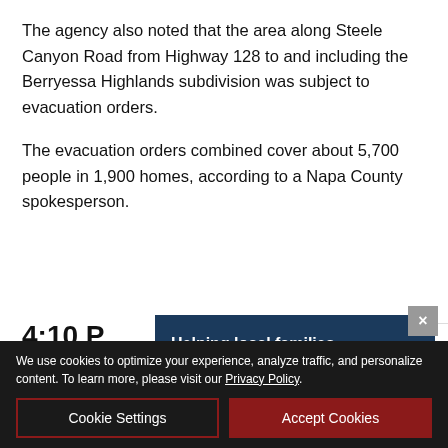The agency also noted that the area along Steele Canyon Road from Highway 128 to and including the Berryessa Highlands subdivision was subject to evacuation orders.
The evacuation orders combined cover about 5,700 people in 1,900 homes, according to a Napa County spokesperson.
4:10 [PM Update: Latest News of M[ain Fire] — [Nap]a Cour[ty]
[Figure (screenshot): Exchange Bank advertisement overlay with logo, 'Helping local families and businesses since 1890.' and EXCHANGEBANK.COM link]
We use cookies to optimize your experience, analyze traffic, and personalize content. To learn more, please visit our Privacy Policy.
Cookie Settings   Accept Cookies